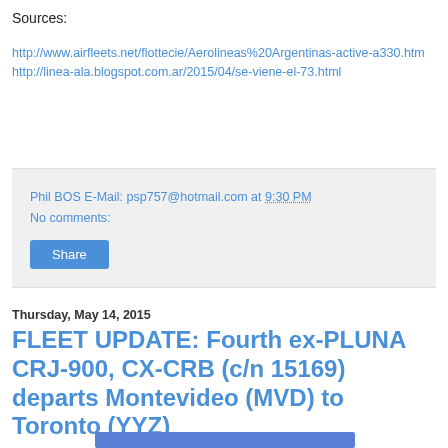Sources:
http://www.airfleets.net/flottecie/Aerolineas%20Argentinas-active-a330.htm
http://linea-ala.blogspot.com.ar/2015/04/se-viene-el-73.html
Phil BOS E-Mail: psp757@hotmail.com at 9:30 PM
No comments:
Share
Thursday, May 14, 2015
FLEET UPDATE: Fourth ex-PLUNA CRJ-900, CX-CRB (c/n 15169) departs Montevideo (MVD) to Toronto (YYZ)
[Figure (photo): Photo partially visible at bottom of page, showing a blue rectangular image area]